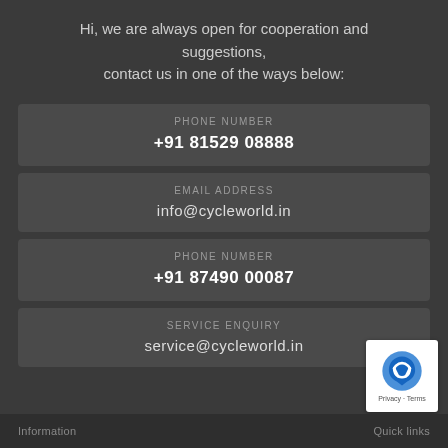Hi, we are always open for cooperation and suggestions, contact us in one of the ways below:
PHONE NUMBER
+91 81529 08888
EMAIL ADDRESS
info@cycleworld.in
PHONE NUMBER
+91 87490 00087
SERVICE ENQUIRY
service@cycleworld.in
Information   Quick links